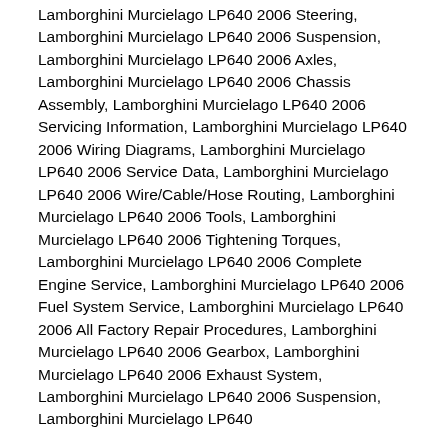Lamborghini Murcielago LP640 2006 Steering, Lamborghini Murcielago LP640 2006 Suspension, Lamborghini Murcielago LP640 2006 Axles, Lamborghini Murcielago LP640 2006 Chassis Assembly, Lamborghini Murcielago LP640 2006 Servicing Information, Lamborghini Murcielago LP640 2006 Wiring Diagrams, Lamborghini Murcielago LP640 2006 Service Data, Lamborghini Murcielago LP640 2006 Wire/Cable/Hose Routing, Lamborghini Murcielago LP640 2006 Tools, Lamborghini Murcielago LP640 2006 Tightening Torques, Lamborghini Murcielago LP640 2006 Complete Engine Service, Lamborghini Murcielago LP640 2006 Fuel System Service, Lamborghini Murcielago LP640 2006 All Factory Repair Procedures, Lamborghini Murcielago LP640 2006 Gearbox, Lamborghini Murcielago LP640 2006 Exhaust System, Lamborghini Murcielago LP640 2006 Suspension, Lamborghini Murcielago LP640